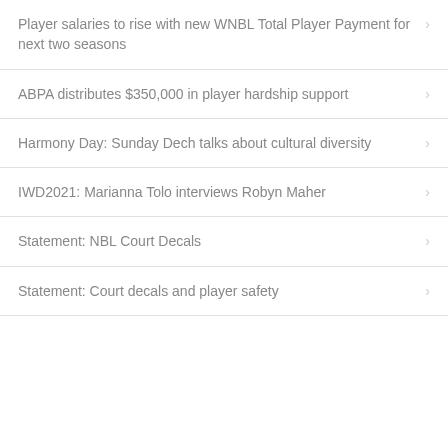Player salaries to rise with new WNBL Total Player Payment for next two seasons
ABPA distributes $350,000 in player hardship support
Harmony Day: Sunday Dech talks about cultural diversity
IWD2021: Marianna Tolo interviews Robyn Maher
Statement: NBL Court Decals
Statement: Court decals and player safety